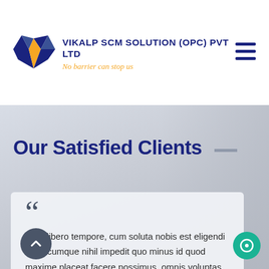[Figure (logo): Vikalp SCM Solution logo: geometric blue and orange diamond/gem shape with stylized V]
VIKALP SCM SOLUTION (OPC) PVT LTD
No barrier can stop us
Our Satisfied Clients —
Nam libero tempore, cum soluta nobis est eligendi optio cumque nihil impedit quo minus id quod maxime placeat facere possimus, omnis voluptas